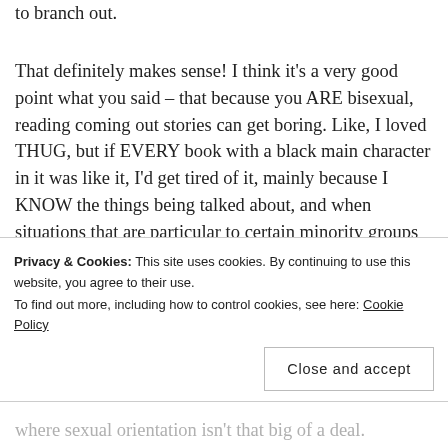to branch out.
That definitely makes sense! I think it's a very good point what you said – that because you ARE bisexual, reading coming out stories can get boring. Like, I loved THUG, but if EVERY book with a black main character in it was like it, I'd get tired of it, mainly because I KNOW the things being talked about, and when situations that are particular to certain minority groups are dissected, it's mainly to teach the reader something. I'm not a part of the LGBT+
Privacy & Cookies: This site uses cookies. By continuing to use this website, you agree to their use.
To find out more, including how to control cookies, see here: Cookie Policy
Close and accept
where sexual orientation isn't that big of a deal.